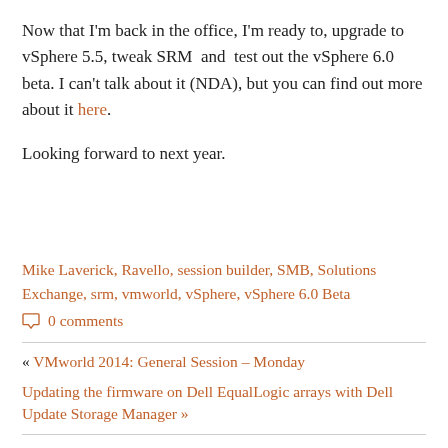Now that I'm back in the office, I'm ready to, upgrade to vSphere 5.5, tweak SRM and test out the vSphere 6.0 beta. I can't talk about it (NDA), but you can find out more about it here.
Looking forward to next year.
Mike Laverick, Ravello, session builder, SMB, Solutions Exchange, srm, vmworld, vSphere, vSphere 6.0 Beta
0 comments
« VMworld 2014: General Session – Monday
Updating the firmware on Dell EqualLogic arrays with Dell Update Storage Manager »